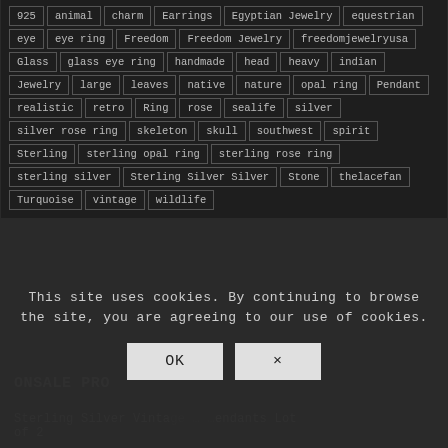925
animal
charm
Earrings
Egyptian Jewelry
equestrian
eye
eye ring
Freedom
Freedom Jewelry
freedomjewelryusa
Glass
glass eye ring
handmade
head
heavy
indian
Jewelry
large
leaves
native
nature
opal ring
Pendant
realistic
retro
Ring
rose
sealife
silver
silver rose ring
skeleton
skull
southwest
spirit
Sterling
sterling opal ring
sterling rose ring
sterling silver
Sterling Silver Silver
Stone
thelacefan
Turquoise
vintage
wildlife
This site uses cookies. By continuing to browse the site, you are agreeing to our use of cookies.
OK
×
ONSALE PRO…
Sterling Silver Vinta… …endants Lot of 2